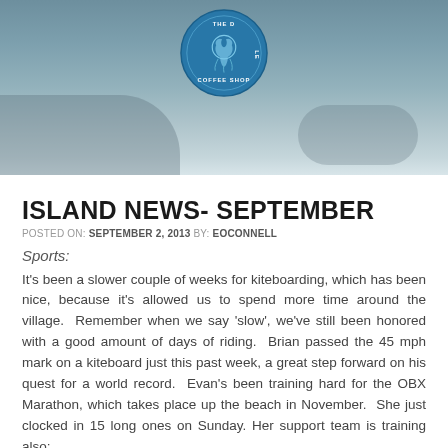[Figure (photo): Header image showing a blurred beach/water background with a circular coffee shop logo (The Dune Coffee Shop) centered at the top in blue tones.]
ISLAND NEWS- SEPTEMBER
POSTED ON: SEPTEMBER 2, 2013 BY: EOCONNELL
Sports:
It's been a slower couple of weeks for kiteboarding, which has been nice, because it's allowed us to spend more time around the village. Remember when we say 'slow', we've still been honored with a good amount of days of riding. Brian passed the 45 mph mark on a kiteboard just this past week, a great step forward on his quest for a world record. Evan's been training hard for the OBX Marathon, which takes place up the beach in November. She just clocked in 15 long ones on Sunday. Her support team is training also: